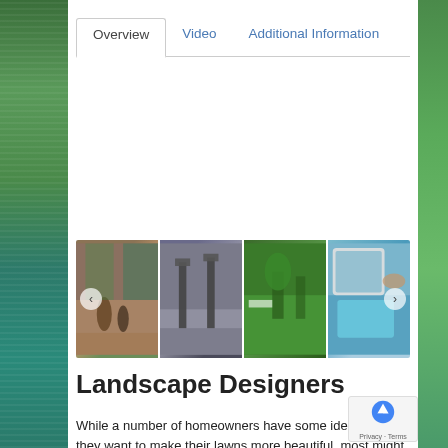[Figure (screenshot): Left decorative strip with green tropical foliage background]
[Figure (screenshot): Right decorative strip with green foliage background]
Overview | Video | Additional Information
[Figure (photo): Strip of four landscape/garden images: people playing in water feature, modern lamp posts on deck, manicured lawn with palm trees, hands holding a tablet/design plan next to pool]
Landscape Designers
While a number of homeowners have some idea of how they want to make their lawns more beautiful, most might not even know where to start.  If you're